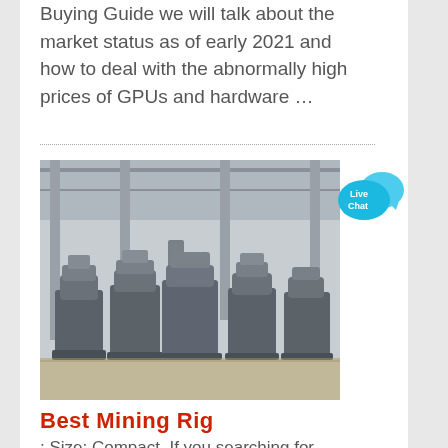Buying Guide we will talk about the market status as of early 2021 and how to deal with the abnormally high prices of GPUs and hardware …
[Figure (photo): Industrial grinding/milling machines lined up in a large factory warehouse]
[Figure (illustration): Live Chat button graphic with cyan speech bubbles and white text 'Live Chat']
Best Mining Rig
: Size: Compact. If you searching for